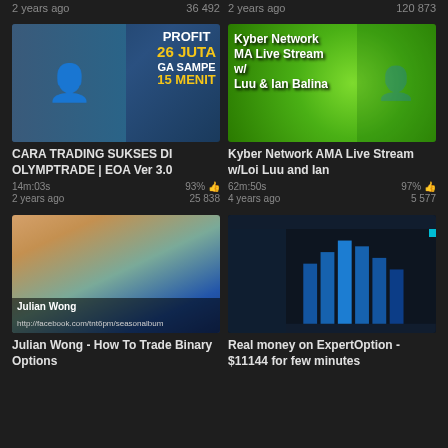2 years ago   36 492
2 years ago   120 873
[Figure (screenshot): Video thumbnail: man with glasses at laptop, text PROFIT 26 JUTA GA SAMPE 15 MENIT]
CARA TRADING SUKSES DI OLYMPTRADE | EOA Ver 3.0
14m:03s   93%   2 years ago   25 838
[Figure (screenshot): Video thumbnail: Kyber Network AMA Live Stream w/ Loi Luu & Ian Balina on green background]
Kyber Network AMA Live Stream w/Loi Luu and Ian
62m:50s   97%   4 years ago   5 577
[Figure (screenshot): Video thumbnail: Julian Wong talking about binary options trading, lower-third name bar visible]
Julian Wong - How To Trade Binary Options
[Figure (screenshot): Video thumbnail: ExpertOption trading platform screenshot with blue chart bars on dark background]
Real money on ExpertOption - $11144 for few minutes